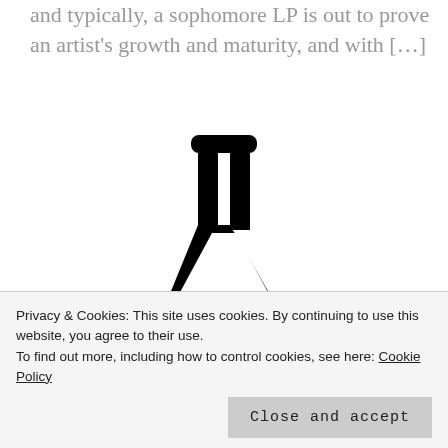and typically, a sophomore LP is out to prove an artist's growth and maturity, and with […]
[Figure (logo): Erlenmeyer flask / conical flask illustration in black, with the word ELIXIR in bold monospace letters below it]
What Went Right With… Elixir
Privacy & Cookies: This site uses cookies. By continuing to use this website, you agree to their use. To find out more, including how to control cookies, see here: Cookie Policy
Close and accept
Christmas so now I'm playing catch up… one of my